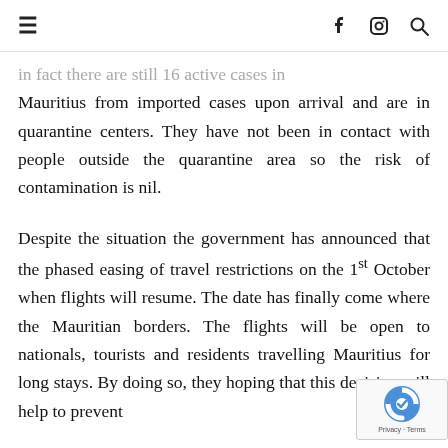≡  f  ⊙  🔍
in fact there are still 16 active cases in Mauritius from imported cases upon arrival and are in quarantine centers. They have not been in contact with people outside the quarantine area so the risk of contamination is nil.
Despite the situation the government has announced that the phased easing of travel restrictions on the 1st October when flights will resume. The date has finally come where the Mauritian borders. The flights will be open to nationals, tourists and residents travelling Mauritius for long stays. By doing so, they hoping that this decision will help to prevent